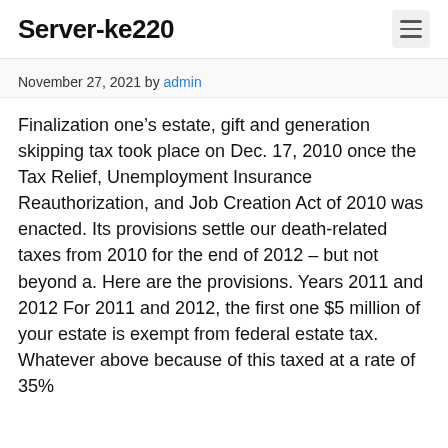Server-ke220
November 27, 2021 by admin
Finalization one’s estate, gift and generation skipping tax took place on Dec. 17, 2010 once the Tax Relief, Unemployment Insurance Reauthorization, and Job Creation Act of 2010 was enacted. Its provisions settle our death-related taxes from 2010 for the end of 2012 – but not beyond a. Here are the provisions. Years 2011 and 2012 For 2011 and 2012, the first one $5 million of your estate is exempt from federal estate tax. Whatever above because of this taxed at a rate of 35%